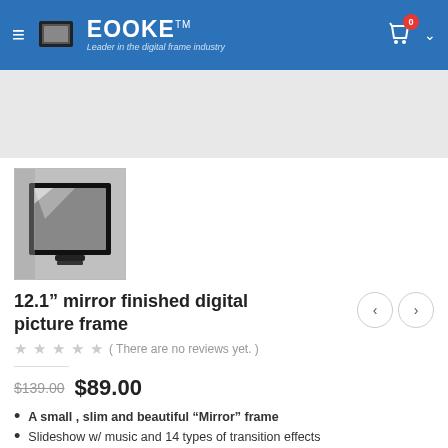EOOKE - Leader in the digital frame industry
[Figure (photo): Gray banner/advertisement area at top of product page]
[Figure (photo): Product thumbnail photo of 12.1 inch mirror finished digital picture frame, black frame shown leaning against wall]
12.1" mirror finished digital picture frame
( There are no reviews yet. )
$139.00  $89.00
A small , slim and beautiful "Mirror" frame
Slideshow w/ music and 14 types of transition effects